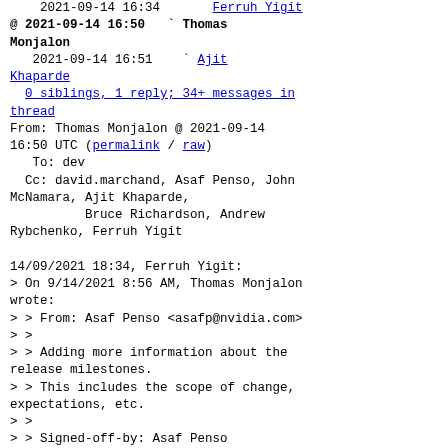2021-09-14 16:34   Ferruh Yigit
@ 2021-09-14 16:50  ` Thomas Monjalon
   2021-09-14 16:51  ` Ajit Khaparde
  0 siblings, 1 reply; 34+ messages in thread
From: Thomas Monjalon @ 2021-09-14 16:50 UTC (permalink / raw)
   To: dev
   Cc: david.marchand, Asaf Penso, John McNamara, Ajit Khaparde,
         Bruce Richardson, Andrew Rybchenko, Ferruh Yigit

14/09/2021 18:34, Ferruh Yigit:
> On 9/14/2021 8:56 AM, Thomas Monjalon wrote:
> > From: Asaf Penso <asafp@nvidia.com>
> >
> > Adding more information about the release milestones.
> > This includes the scope of change, expectations, etc.
> >
> > Signed-off-by: Asaf Penso <asafp@nvidia.com>
> > Signed-off-by: Thomas Monjalon <thomas@monjalon.net>
> > Acked-by: John McNamara
< john.mcnamara@intel.com>